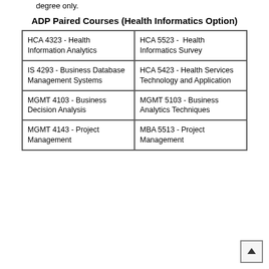degree only.
ADP Paired Courses (Health Informatics Option)
| HCA 4323 - Health Information Analytics | HCA 5523 -  Health Informatics Survey |
| IS 4293 - Business Database Management Systems | HCA 5423 - Health Services Technology and Application |
| MGMT 4103 - Business Decision Analysis | MGMT 5103 - Business Analytics Techniques |
| MGMT 4143 - Project Management | MBA 5513 - Project Management |